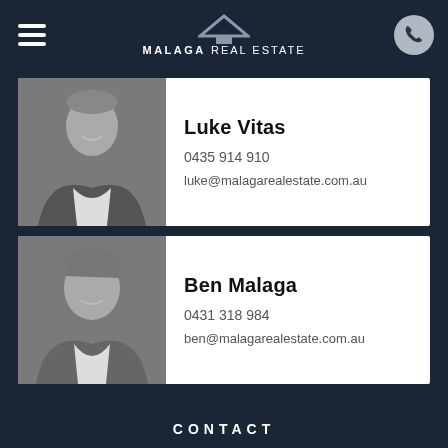MALAGA REAL ESTATE
[Figure (photo): Black and white photo of Luke Vitas, smiling man in a suit jacket]
Luke Vitas
0435 914 910
luke@malagarealestate.com.au
[Figure (photo): Black and white photo of Ben Malaga, smiling man in a suit jacket]
Ben Malaga
0431 318 984
ben@malagarealestate.com.au
CONTACT